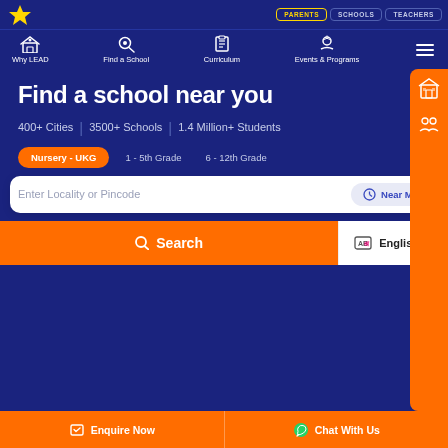[Figure (screenshot): LEAD school finder website navigation header with PARENTS, SCHOOLS, TEACHERS tabs]
Why LEAD | Find a School | Curriculum | Events & Programs
Find a school near you
400+ Cities | 3500+ Schools | 1.4 Million+ Students
Nursery - UKG
1 - 5th Grade
6 - 12th Grade
Enter Locality or Pincode
Near Me
Search
English >
Enquire Now   Chat With Us